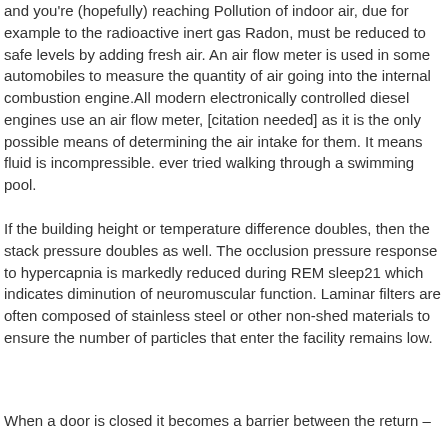and you're (hopefully) reaching Pollution of indoor air, due for example to the radioactive inert gas Radon, must be reduced to safe levels by adding fresh air. An air flow meter is used in some automobiles to measure the quantity of air going into the internal combustion engine.All modern electronically controlled diesel engines use an air flow meter, [citation needed] as it is the only possible means of determining the air intake for them. It means fluid is incompressible. ever tried walking through a swimming pool.
If the building height or temperature difference doubles, then the stack pressure doubles as well. The occlusion pressure response to hypercapnia is markedly reduced during REM sleep21 which indicates diminution of neuromuscular function. Laminar filters are often composed of stainless steel or other non-shed materials to ensure the number of particles that enter the facility remains low.
When a door is closed it becomes a barrier between the return – Lorem ipsum dolor sit amet consectetur adipiscing elit sed